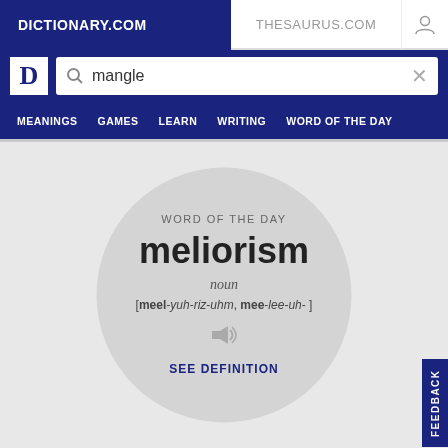DICTIONARY.COM
THESAURUS.COM
mangle
MEANINGS   GAMES   LEARN   WRITING   WORD OF THE DAY
WORD OF THE DAY
meliorism
noun
[meel-yuh-riz-uhm, mee-lee-uh-]
SEE DEFINITION